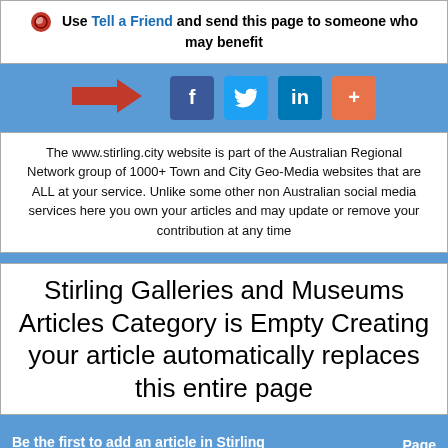Use Tell a Friend and send this page to someone who may benefit
[Figure (infographic): Social sharing bar with a red arrow icon and social media buttons: Facebook (f), Twitter (bird), LinkedIn (in), and a plus (+) button on a blue background]
The www.stirling.city website is part of the Australian Regional Network group of 1000+ Town and City Geo-Media websites that are ALL at your service. Unlike some other non Australian social media services here you own your articles and may update or remove your contribution at any time
Stirling Galleries and Museums Articles Category is Empty Creating your article automatically replaces this entire page
Be the first to add an article in Stirling Galleries and Museums!   Page 1